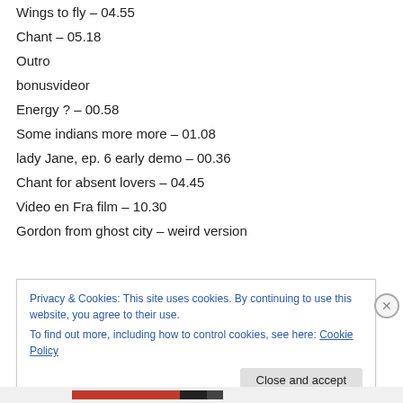Wings to fly – 04.55
Chant – 05.18
Outro
bonusvideor
Energy ? – 00.58
Some indians more more – 01.08
lady Jane, ep. 6 early demo – 00.36
Chant for absent lovers – 04.45
Video en Fra film – 10.30
Gordon from ghost city – weird version
Privacy & Cookies: This site uses cookies. By continuing to use this website, you agree to their use.
To find out more, including how to control cookies, see here: Cookie Policy